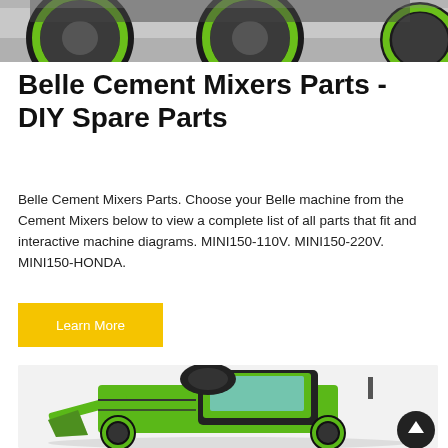[Figure (photo): Top portion of green cement mixer / construction machine with large green-rimmed black tires on a road surface, cropped at top of page.]
Belle Cement Mixers Parts - DIY Spare Parts
Belle Cement Mixers Parts. Choose your Belle machine from the Cement Mixers below to view a complete list of all parts that fit and interactive machine diagrams. MINI150-110V. MINI150-220V. MINI150-HONDA.
Learn More
[Figure (photo): Large green and black self-loading cement mixer machine with enclosed cab, front loading bucket/scoop, on white/grey background. A dark circular scroll-to-top button with upward arrow is overlaid at bottom right.]